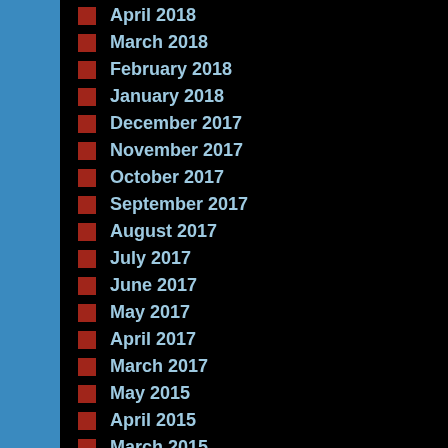April 2018
March 2018
February 2018
January 2018
December 2017
November 2017
October 2017
September 2017
August 2017
July 2017
June 2017
May 2017
April 2017
March 2017
May 2015
April 2015
March 2015
February 2015
January 2015
Related Pos...
#herpes Olame...
#herpes Olame...
#herpes Olame...
tom44  17...
Constipation
#herpes ...
HERP RESCUE 1 Oregano Oil, 120 C...
Esther Spektor – T...